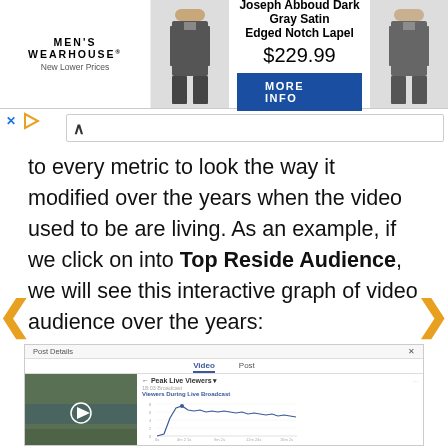[Figure (screenshot): Men's Wearhouse advertisement banner showing a Joseph Abboud Dark Gray Satin Edged Notch Lapel suit priced at $229.99 with a MORE INFO button and images of men in suits on either side.]
to every metric to look the way it modified over the years when the video used to be are living. As an example, if we click on into Top Reside Audience, we will see this interactive graph of video audience over the years:
[Figure (screenshot): Screenshot of a Facebook Post Details panel showing a video post by HubSpot titled 'Mindful Monday - Join us for our walking work break' with a Peak Live Viewers graph showing Viewers During Live Broadcast over time.]